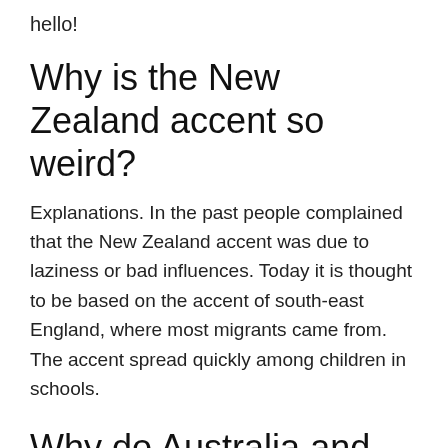hello!
Why is the New Zealand accent so weird?
Explanations. In the past people complained that the New Zealand accent was due to laziness or bad influences. Today it is thought to be based on the accent of south-east England, where most migrants came from. The accent spread quickly among children in schools.
Why do Australia and New Zealand speak English?
The British literally shipped their convicts out